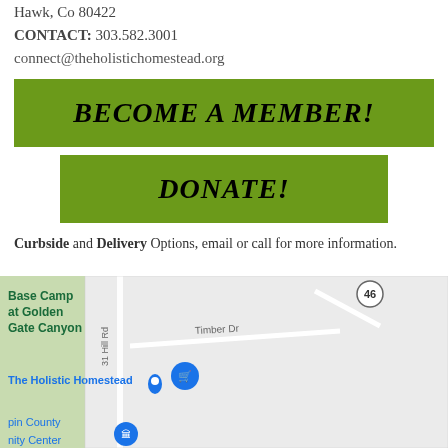Hawk, Co 80422
CONTACT: 303.582.3001
connect@theholistichomestead.org
[Figure (other): Green button reading BECOME A MEMBER!]
[Figure (other): Green button reading DONATE!]
Curbside and Delivery Options, email or call for more information.
[Figure (map): Google Maps screenshot showing The Holistic Homestead location near Golden Gate Canyon, with roads including Timber Dr and route 46 marked, and map pins for The Holistic Homestead and a county community center.]